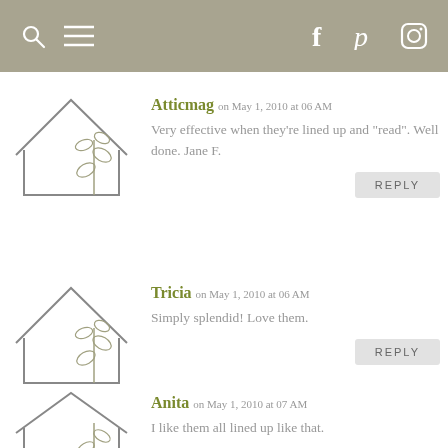Navigation bar with search, menu, Facebook, Pinterest, Instagram icons
Atticmag on May 1, 2010 at 06 AM — Very effective when they're lined up and "read". Well done. Jane F. [REPLY]
Tricia on May 1, 2010 at 06 AM — Simply splendid! Love them. [REPLY]
Anita on May 1, 2010 at 07 AM — I like them all lined up like that.